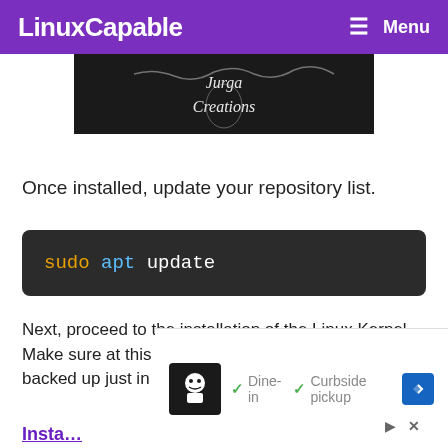LinuxCapable  Menu
[Figure (photo): Dark banner image with 'Jurga Creations' text on black background]
Once installed, update your repository list.
Next, proceed to the installation of the Linux Kernel. Make sure at this point any sensitive documents are backed up just in case of anything goin…
Insta…
[Figure (infographic): Advertisement overlay showing a restaurant icon with Dine-in and Curbside pickup checkmarks, navigation arrow icon, play and close buttons]